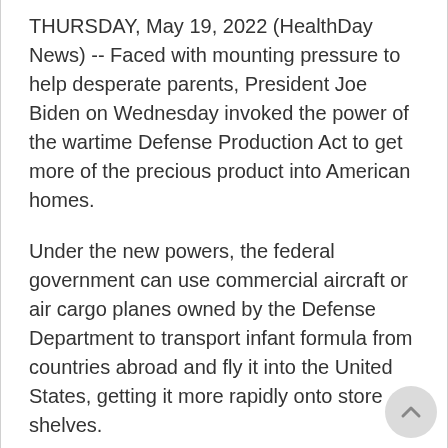THURSDAY, May 19, 2022 (HealthDay News) -- Faced with mounting pressure to help desperate parents, President Joe Biden on Wednesday invoked the power of the wartime Defense Production Act to get more of the precious product into American homes.
Under the new powers, the federal government can use commercial aircraft or air cargo planes owned by the Defense Department to transport infant formula from countries abroad and fly it into the United States, getting it more rapidly onto store shelves.
The move comes two days after the U.S. Food and Drug Administration announced that it was also expediting the approvals process, so that foreign suppliers of baby formula could quickly get their products into the United States.
"I know parents all across the country are worried about